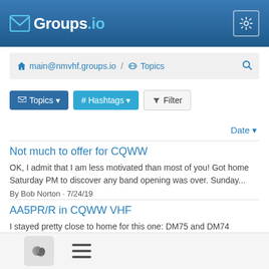Groups.io
main@nmvhf.groups.io / Topics
Topics  # Hashtags  Filter
Date
Not much to offer for CQWW
OK, I admit that I am less motivated than most of you! Got home Saturday PM to discover any band opening was over. Sunday...
By Bob Norton · 7/24/19
AA5PR/R in CQWW VHF
I stayed pretty close to home for this one: DM75 and DM74 Saturday, and DM55 Sunday. Saturday was not great, although...
By John Klem · 7/23/19